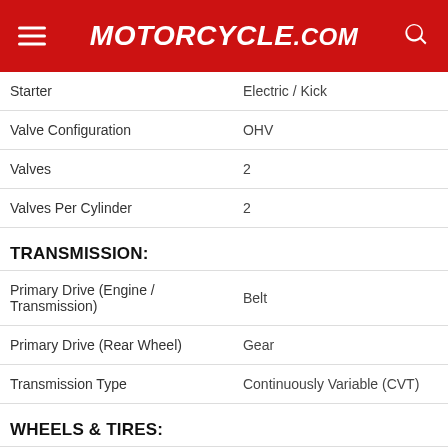Motorcycle.com
| Spec | Value |
| --- | --- |
| Starter | Electric / Kick |
| Valve Configuration | OHV |
| Valves | 2 |
| Valves Per Cylinder | 2 |
TRANSMISSION:
| Spec | Value |
| --- | --- |
| Primary Drive (Engine / Transmission) | Belt |
| Primary Drive (Rear Wheel) | Gear |
| Transmission Type | Continuously Variable (CVT) |
WHEELS & TIRES:
| Spec | Value |
| --- | --- |
| Front Tire (Full Spec) | 120/70 R14 |
| Rear Tire (Full Spec) | 120/70 R14 |